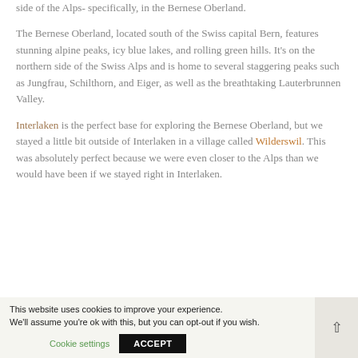side of the Alps- specifically, in the Bernese Oberland.
The Bernese Oberland, located south of the Swiss capital Bern, features stunning alpine peaks, icy blue lakes, and rolling green hills. It's on the northern side of the Swiss Alps and is home to several staggering peaks such as Jungfrau, Schilthorn, and Eiger, as well as the breathtaking Lauterbrunnen Valley.
Interlaken is the perfect base for exploring the Bernese Oberland, but we stayed a little bit outside of Interlaken in a village called Wilderswil. This was absolutely perfect because we were even closer to the Alps than we would have been if we stayed right in Interlaken.
This website uses cookies to improve your experience. We'll assume you're ok with this, but you can opt-out if you wish. Cookie settings ACCEPT